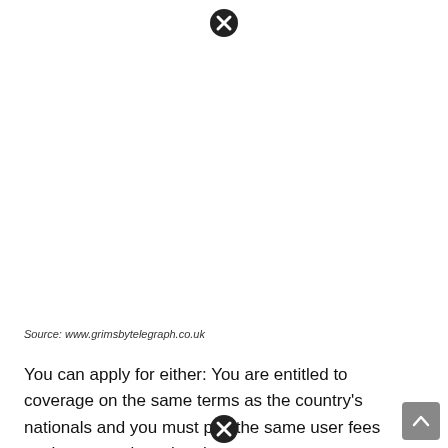[Figure (other): Close/dismiss button (circle with X) at top center of page]
Source: www.grimsbytelegraph.co.uk
You can apply for either: You are entitled to coverage on the same terms as the country's nationals and you must pay the same user fees as the country's nationals.
[Figure (other): Scroll-to-top button at bottom right]
[Figure (other): Close/dismiss button (circle with X) at bottom center of page]